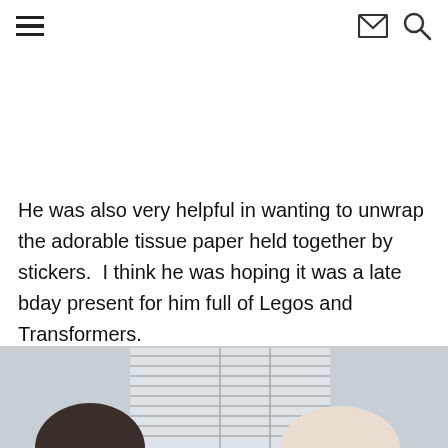Navigation header with hamburger menu, mail icon, and search icon
He was also very helpful in wanting to unwrap the adorable tissue paper held together by stickers.  I think he was hoping it was a late bday present for him full of Legos and Transformers.
[Figure (photo): Bottom portion of a photo showing two people (partially visible heads/shoulders) near a window with horizontal blinds, indoor setting with light background]